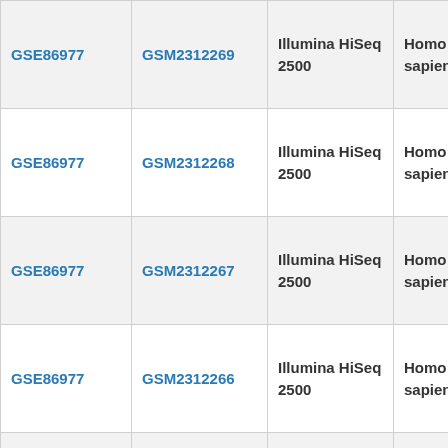| GSE | GSM | Instrument | Organism | Sample |
| --- | --- | --- | --- | --- |
| GSE86977 | GSM2312269 | Illumina HiSeq 2500 | Homo sapiens | 12Dn1a_B0... |
| GSE86977 | GSM2312268 | Illumina HiSeq 2500 | Homo sapiens | 12Dn1a_A0... |
| GSE86977 | GSM2312267 | Illumina HiSeq 2500 | Homo sapiens | 12Dn1a_A0... |
| GSE86977 | GSM2312266 | Illumina HiSeq 2500 | Homo sapiens | 12Dn1a_A1... |
| GSE86977 |  |  |  |  |